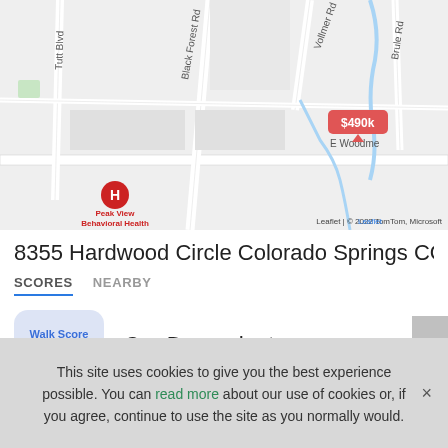[Figure (map): Street map showing area around 8355 Hardwood Circle, Colorado Springs CO. Shows roads including Black Forest Rd, Vollmer Rd, Tutt Blvd, Brule Rd, E Woodmen. A red price pin shows $490k. A hospital marker (H) labeled Peak View Behavioral Health is visible. Attribution: Leaflet | © 2022 TomTom, Microsoft]
8355 Hardwood Circle Colorado Springs CO 8090
SCORES   NEARBY
Walk Score 0 — Car-Dependent. Almost all errands require a car
This site uses cookies to give you the best experience possible. You can read more about our use of cookies or, if you agree, continue to use the site as you normally would.